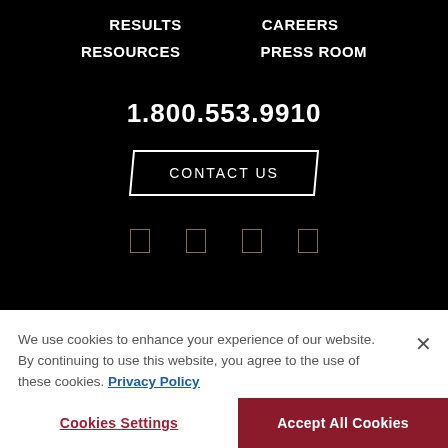RESULTS   CAREERS
RESOURCES   PRESS ROOM
1.800.553.9910
CONTACT US
[Figure (other): Four social media icons in gold/brown color]
We use cookies to enhance your experience of our website. By continuing to use this website, you agree to the use of these cookies. Privacy Policy
Cookies Settings
Accept All Cookies